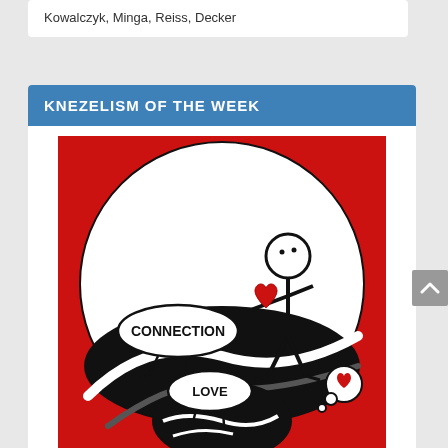Kowalczyk, Minga, Reiss, Decker
KNEZELISM OF THE WEEK
[Figure (illustration): Red background illustration with a white circle containing a stick figure holding a red heart, with speech bubbles labeled 'CONNECTION' and 'LOVE', and a thought bubble with a red heart. Black and white yin-yang style landscape inside the circle.]